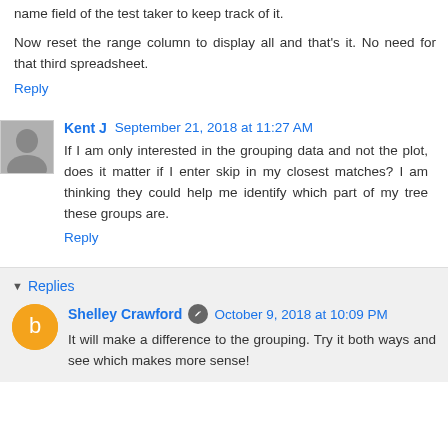name field of the test taker to keep track of it.
Now reset the range column to display all and that's it. No need for that third spreadsheet.
Reply
Kent J  September 21, 2018 at 11:27 AM
If I am only interested in the grouping data and not the plot, does it matter if I enter skip in my closest matches? I am thinking they could help me identify which part of my tree these groups are.
Reply
Replies
Shelley Crawford  October 9, 2018 at 10:09 PM
It will make a difference to the grouping. Try it both ways and see which makes more sense!